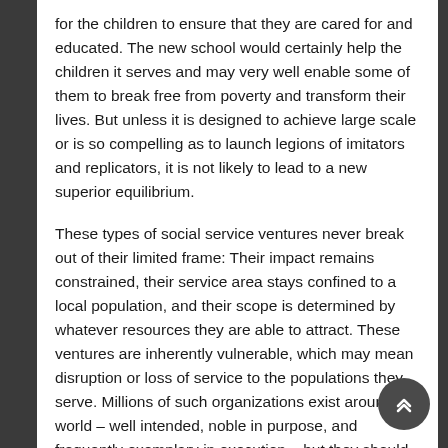for the children to ensure that they are cared for and educated. The new school would certainly help the children it serves and may very well enable some of them to break free from poverty and transform their lives. But unless it is designed to achieve large scale or is so compelling as to launch legions of imitators and replicators, it is not likely to lead to a new superior equilibrium.
These types of social service ventures never break out of their limited frame: Their impact remains constrained, their service area stays confined to a local population, and their scope is determined by whatever resources they are able to attract. These ventures are inherently vulnerable, which may mean disruption or loss of service to the populations they serve. Millions of such organizations exist around the world – well intended, noble in purpose, and frequently exemplary in execution – but they should not be confused with social entrepreneurship.
It would be possible to reformulate a school for AIDS orphans as social entrepreneurship. But that would...